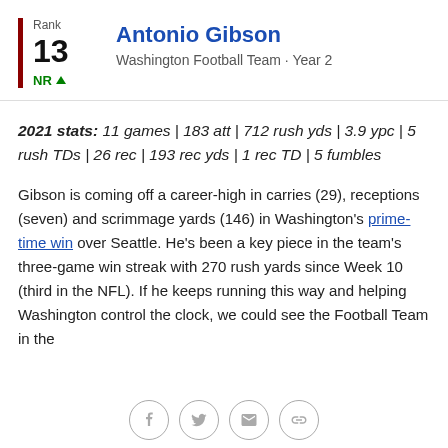Antonio Gibson
Washington Football Team · Year 2
Rank 13 NR ▲
2021 stats: 11 games | 183 att | 712 rush yds | 3.9 ypc | 5 rush TDs | 26 rec | 193 rec yds | 1 rec TD | 5 fumbles
Gibson is coming off a career-high in carries (29), receptions (seven) and scrimmage yards (146) in Washington's prime-time win over Seattle. He's been a key piece in the team's three-game win streak with 270 rush yards since Week 10 (third in the NFL). If he keeps running this way and helping Washington control the clock, we could see the Football Team in the
[Figure (other): Social share icons: Facebook, Twitter, email, link]